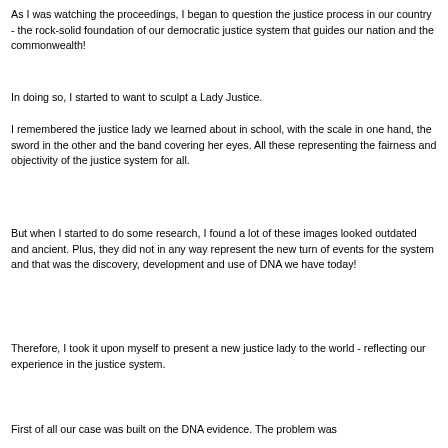As I was watching the proceedings, I began to question the justice process in our country - the rock-solid foundation of our democratic justice system that guides our nation and the commonwealth!
In doing so, I started to want to sculpt a Lady Justice.
I remembered the justice lady we learned about in school, with the scale in one hand, the sword in the other and the band covering her eyes. All these representing the fairness and objectivity of the justice system for all.
But when I started to do some research, I found a lot of these images looked outdated and ancient. Plus, they did not in any way represent the new turn of events for the system and that was the discovery, development and use of DNA we have today!
Therefore, I took it upon myself to present a new justice lady to the world - reflecting our experience in the justice system.
First of all our case was built on the DNA evidence. The problem was